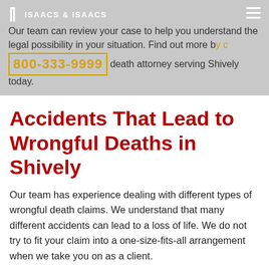ISAACS & ISAACS
Our team can review your case to help you understand the legal possibility in your situation. Find out more by contacting a wrongful death attorney serving Shively today.
[Figure (other): Phone number call-to-action box with gold border showing 800-333-9999]
Accidents That Lead to Wrongful Deaths in Shively
Our team has experience dealing with different types of wrongful death claims. We understand that many different accidents can lead to a loss of life. We do not try to fit your claim into a one-size-fits-all arrangement when we take you on as a client.